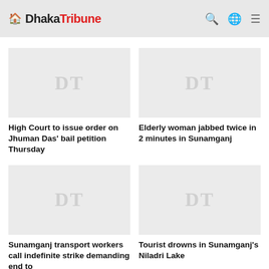Dhaka Tribune
[Figure (photo): Placeholder image with DT watermark for article: High Court to issue order on Jhuman Das' bail petition Thursday]
High Court to issue order on Jhuman Das' bail petition Thursday
[Figure (photo): Placeholder image with DT watermark for article: Elderly woman jabbed twice in 2 minutes in Sunamganj]
Elderly woman jabbed twice in 2 minutes in Sunamganj
[Figure (photo): Placeholder image with DT watermark for article: Sunamganj transport workers call indefinite strike demanding end to]
Sunamganj transport workers call indefinite strike demanding end to
[Figure (photo): Placeholder image with DT watermark for article: Tourist drowns in Sunamganj's Niladri Lake]
Tourist drowns in Sunamganj's Niladri Lake